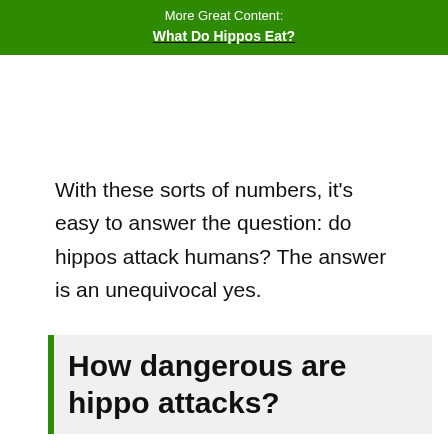More Great Content:
What Do Hippos Eat?
With these sorts of numbers, it's easy to answer the question: do hippos attack humans? The answer is an unequivocal yes.
How dangerous are hippo attacks?
Generally, it's best to avoid hippos totally. If a hippo does happen to attack, the odds of living